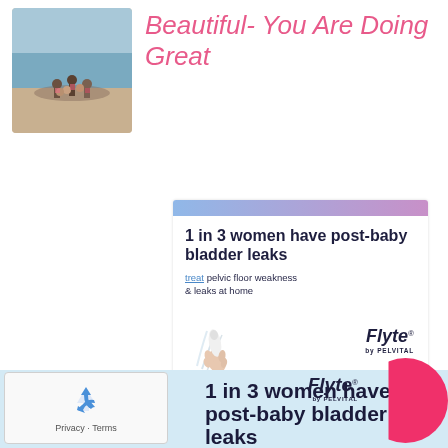[Figure (photo): Group of women sitting in a circle on a beach]
Beautiful- You Are Doing Great
[Figure (infographic): Flyte by PELVITAL advertisement banner: '1 in 3 women have post-baby bladder leaks', treat pelvic floor weakness & leaks at home, image of device, 'Flyte by PELVITAL' logo, 'Learn more' button]
[Figure (infographic): Flyte by PELVITAL advertisement expanded: logo, pink circle graphic, '1 in 3 women have post-baby bladder leaks' in large bold text on light blue background]
[Figure (logo): reCAPTCHA widget with Privacy - Terms text]